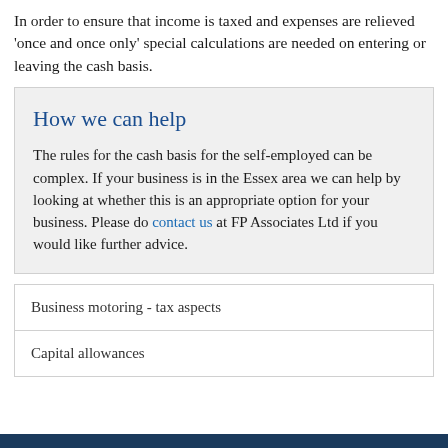In order to ensure that income is taxed and expenses are relieved 'once and once only' special calculations are needed on entering or leaving the cash basis.
How we can help
The rules for the cash basis for the self-employed can be complex. If your business is in the Essex area we can help by looking at whether this is an appropriate option for your business. Please do contact us at FP Associates Ltd if you would like further advice.
Business motoring - tax aspects
Capital allowances